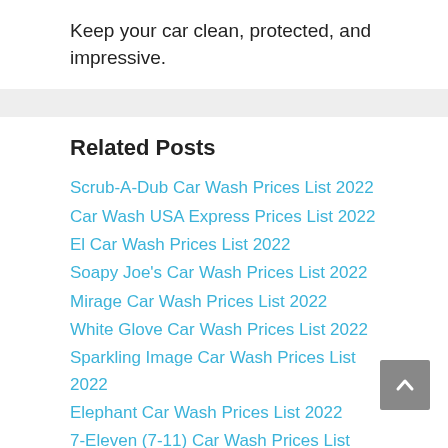Keep your car clean, protected, and impressive.
Related Posts
Scrub-A-Dub Car Wash Prices List 2022
Car Wash USA Express Prices List 2022
El Car Wash Prices List 2022
Soapy Joe's Car Wash Prices List 2022
Mirage Car Wash Prices List 2022
White Glove Car Wash Prices List 2022
Sparkling Image Car Wash Prices List 2022
Elephant Car Wash Prices List 2022
7-Eleven (7-11) Car Wash Prices List 2022